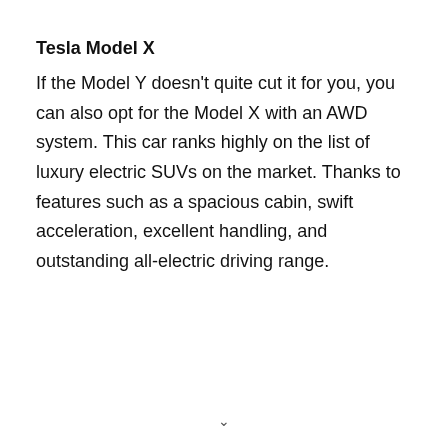Tesla Model X
If the Model Y doesn’t quite cut it for you, you can also opt for the Model X with an AWD system. This car ranks highly on the list of luxury electric SUVs on the market. Thanks to features such as a spacious cabin, swift acceleration, excellent handling, and outstanding all-electric driving range.